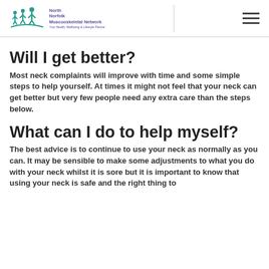North Norfolk Muscuoskeletal Network — Your Health, Wellbeing & Lifestyle Partner
Will I get better?
Most neck complaints will improve with time and some simple steps to help yourself. At times it might not feel that your neck can get better but very few people need any extra care than the steps below.
What can I do to help myself?
The best advice is to continue to use your neck as normally as you can. It may be sensible to make some adjustments to what you do with your neck whilst it is sore but it is important to know that using your neck is safe and the right thing to